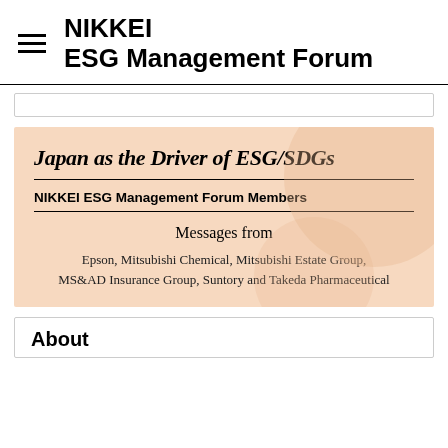NIKKEI ESG Management Forum
Japan as the Driver of ESG/SDGs
NIKKEI ESG Management Forum Members
Messages from
Epson, Mitsubishi Chemical, Mitsubishi Estate Group, MS&AD Insurance Group, Suntory and Takeda Pharmaceutical
About